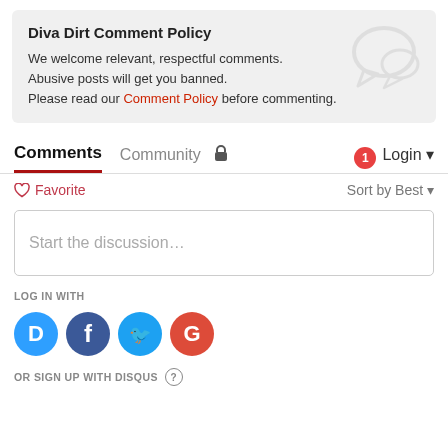Diva Dirt Comment Policy
We welcome relevant, respectful comments. Abusive posts will get you banned. Please read our Comment Policy before commenting.
Comments  Community  Login
Favorite  Sort by Best
Start the discussion…
LOG IN WITH
OR SIGN UP WITH DISQUS